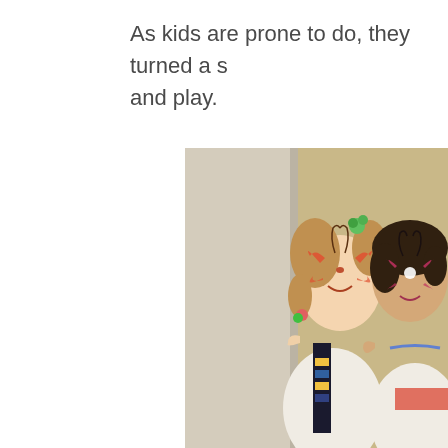As kids are prone to do, they turned a s… and play.
[Figure (photo): Two young girls with butterfly face paint smiling. The girl on the left has braided blonde hair with green flower clips and wears a white top with a colorful beaded sash. The girl on the right has dark hair and wears a white top with blue embroidery and a coral/pink sash. Both have elaborate butterfly face paint designs.]